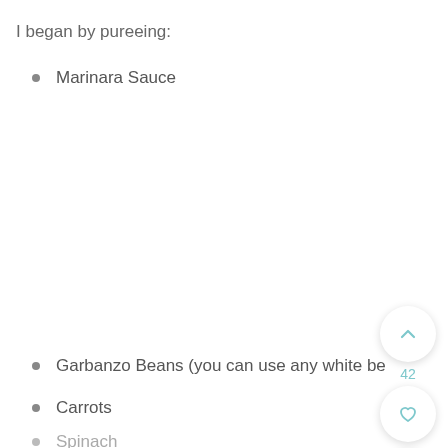I began by pureeing:
Marinara Sauce
Garbanzo Beans (you can use any white be…
Carrots
Spinach